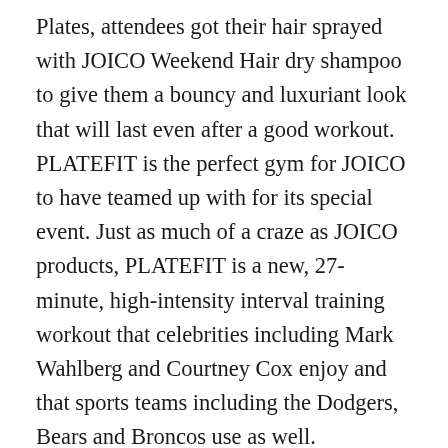Plates, attendees got their hair sprayed with JOICO Weekend Hair dry shampoo to give them a bouncy and luxuriant look that will last even after a good workout. PLATEFIT is the perfect gym for JOICO to have teamed up with for its special event. Just as much of a craze as JOICO products, PLATEFIT is a new, 27-minute, high-intensity interval training workout that celebrities including Mark Wahlberg and Courtney Cox enjoy and that sports teams including the Dodgers, Bears and Broncos use as well.
During the class, attendees were able to sweat it